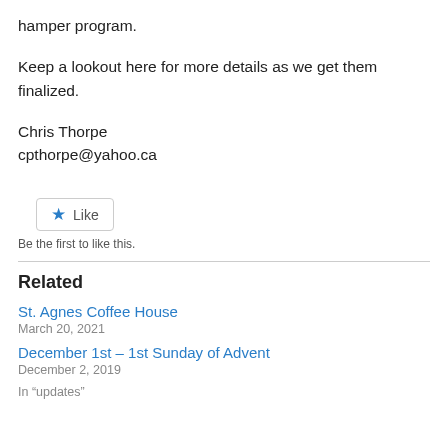hamper program.
Keep a lookout here for more details as we get them finalized.
Chris Thorpe
cpthorpe@yahoo.ca
[Figure (other): Like button with star icon and text 'Like']
Be the first to like this.
Related
St. Agnes Coffee House
March 20, 2021
December 1st – 1st Sunday of Advent
December 2, 2019
In "updates"